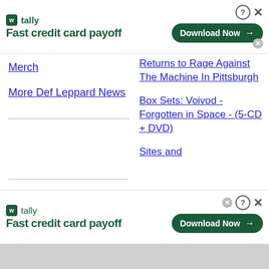[Figure (screenshot): Tally app advertisement banner top - logo with 'tally' text and 'Fast credit card payoff' tagline, Download Now button, close/help icons]
Merch
More Def Leppard News
Returns to Rage Against The Machine In Pittsburgh
Box Sets: Voivod - Forgotten in Space - (5-CD + DVD)
Sites and
[Figure (screenshot): Tally app advertisement banner bottom - logo with 'tally' text and 'Fast credit card payoff' tagline, Download Now button, close/help icons]